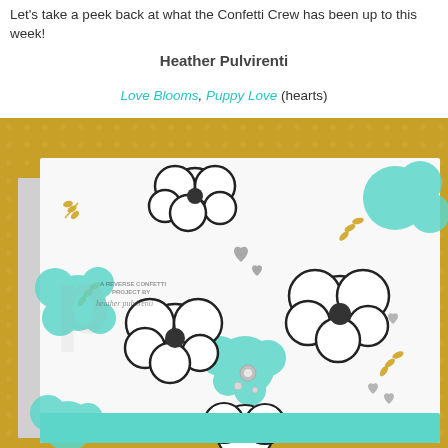Let’s take a peek back at what the Confetti Crew has been up to this week!
Heather Pulvirenti
Love Blooms, Puppy Love (hearts)
[Figure (photo): A handmade greeting card featuring stamped flowers in black outline, teal/mint, and gold on white paper, displayed against a mustard yellow dotted background. The card shows large bloom flowers with small hearts, a silver brad embellishment, and a teal banner strip at the bottom. A watermark reads 'A Reverse Confetti Project by heather pulvirenti'.]